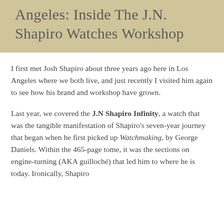Angeles: Inside The J.N. Shapiro Watches Workshop
I first met Josh Shapiro about three years ago here in Los Angeles where we both live, and just recently I visited him again to see how his brand and workshop have grown.
Last year, we covered the J.N Shapiro Infinity, a watch that was the tangible manifestation of Shapiro's seven-year journey that began when he first picked up Watchmaking, by George Daniels. Within the 465-page tome, it was the sections on engine-turning (AKA guilloché) that led him to where he is today. Ironically, Shapiro initially...